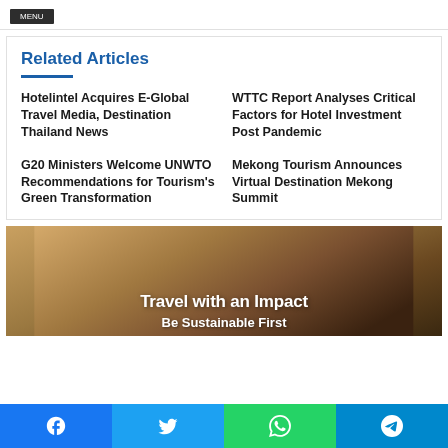[tag button]
Related Articles
Hotelintel Acquires E-Global Travel Media, Destination Thailand News
WTTC Report Analyses Critical Factors for Hotel Investment Post Pandemic
G20 Ministers Welcome UNWTO Recommendations for Tourism's Green Transformation
Mekong Tourism Announces Virtual Destination Mekong Summit
[Figure (photo): Travel with an Impact banner image with text overlay showing 'Travel with an Impact' and partial text below]
Social share bar: Facebook, Twitter, WhatsApp, Telegram